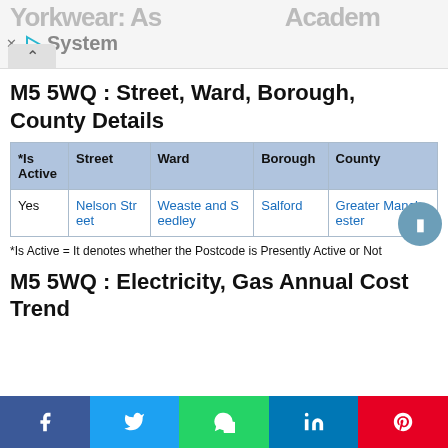M5 5WQ : Street, Ward, Borough, County Details
| *Is Active | Street | Ward | Borough | County |
| --- | --- | --- | --- | --- |
| Yes | Nelson Street | Weaste and Seedley | Salford | Greater Manchester |
*Is Active = It denotes whether the Postcode is Presently Active or Not
M5 5WQ : Electricity, Gas Annual Cost Trend